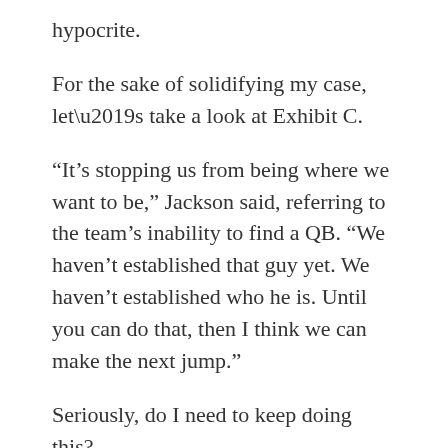hypocrite.
For the sake of solidifying my case, let’s take a look at Exhibit C.
“It’s stopping us from being where we want to be,” Jackson said, referring to the team’s inability to find a QB. “We haven’t established that guy yet. We haven’t established who he is. Until you can do that, then I think we can make the next jump.”
Seriously, do I need to keep doing this?
Based on these quotes alone, there’s no way Jackson could claim Griffin is his 2017 starter. How could he be this adamant about the Browns’ lack of a franchise guy, then follow it up with “so we’re going